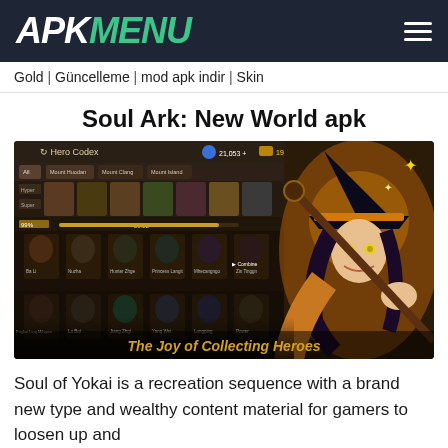APK MENU
Gold | Güncelleme | mod apk indir | Skin
Soul Ark: New World apk
[Figure (screenshot): Soul Ark: New World game screenshot showing Hero Codex screen with anime characters and a witch character on the right. Bottom text reads 'The Joy of Collecting Heroes']
Soul of Yokai is a recreation sequence with a brand new type and wealthy content material for gamers to loosen up and